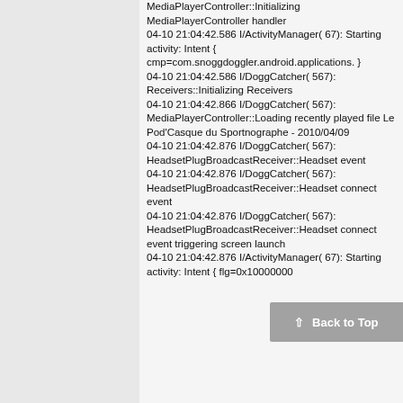MediaPlayerController::Initializing MediaPlayerController handler
04-10 21:04:42.586 I/ActivityManager( 67): Starting activity: Intent { cmp=com.snoggdoggler.android.applications. }
04-10 21:04:42.586 I/DoggCatcher( 567): Receivers::Initializing Receivers
04-10 21:04:42.866 I/DoggCatcher( 567): MediaPlayerController::Loading recently played file Le Pod'Casque du Sportnographe - 2010/04/09
04-10 21:04:42.876 I/DoggCatcher( 567): HeadsetPlugBroadcastReceiver::Headset event
04-10 21:04:42.876 I/DoggCatcher( 567): HeadsetPlugBroadcastReceiver::Headset connect event
04-10 21:04:42.876 I/DoggCatcher( 567): HeadsetPlugBroadcastReceiver::Headset connect event triggering screen launch
04-10 21:04:42.876 I/ActivityManager( 67): Starting activity: Intent { flg=0x10000000